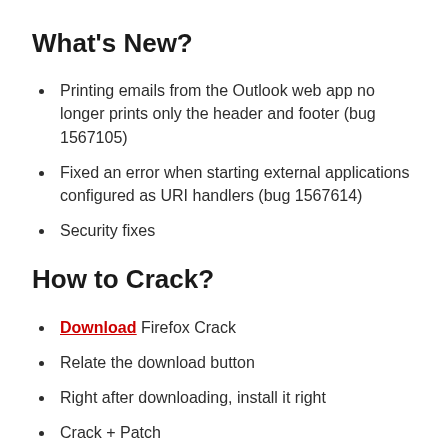What’s New?
Printing emails from the Outlook web app no longer prints only the header and footer (bug 1567105)
Fixed an error when starting external applications configured as URI handlers (bug 1567614)
Security fixes
How to Crack?
Download  Firefox Crack
Relate the download button
Right after downloading, install it right
Crack + Patch
Perform a little setup during installation and also